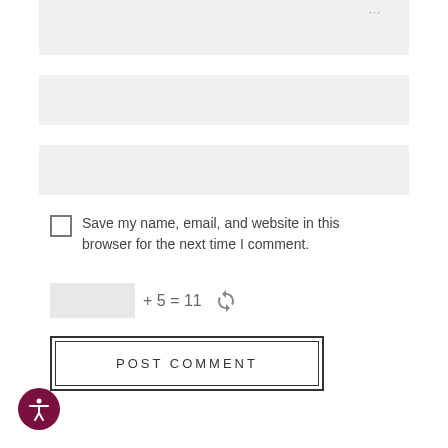[Figure (screenshot): Light gray input/text area box 1 (top), partially visible with dotted icon in upper right corner]
[Figure (screenshot): Light gray input field box 2 (middle)]
[Figure (screenshot): Light gray input field box 3 (lower)]
Save my name, email, and website in this browser for the next time I comment.
[Figure (screenshot): CAPTCHA input field with equation: [blank] + 5 = 11 and a refresh icon]
[Figure (screenshot): POST COMMENT button with double border styling]
[Figure (illustration): Accessibility icon — dark magenta/maroon circle with white person/accessibility symbol]